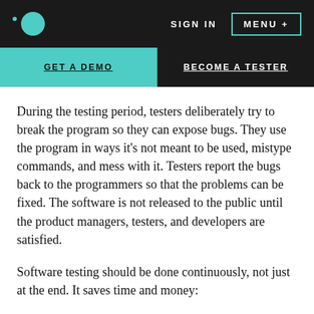SIGN IN  MENU +
GET A DEMO | BECOME A TESTER
During the testing period, testers deliberately try to break the program so they can expose bugs. They use the program in ways it’s not meant to be used, mistype commands, and mess with it. Testers report the bugs back to the programmers so that the problems can be fixed. The software is not released to the public until the product managers, testers, and developers are satisfied.
Software testing should be done continuously, not just at the end. It saves time and money: